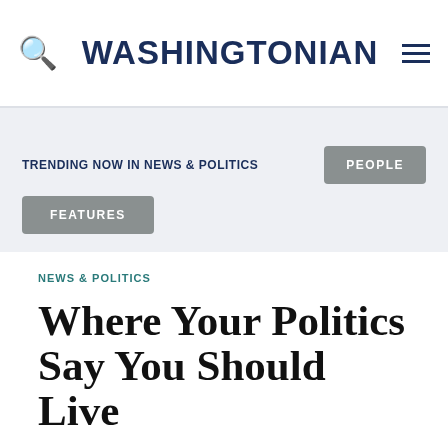WASHINGTONIAN
TRENDING NOW IN NEWS & POLITICS
PEOPLE
FEATURES
NEWS & POLITICS
Where Your Politics Say You Should Live
Looking for the perfect echo chamber in